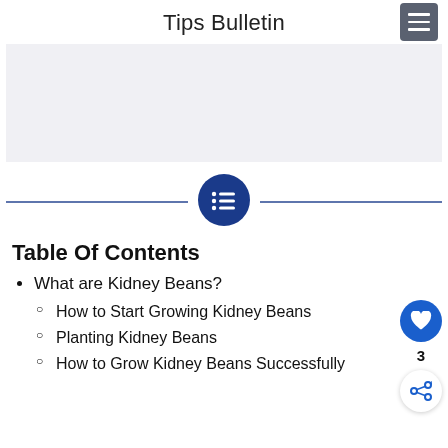Tips Bulletin
[Figure (other): Light gray advertisement banner placeholder area]
[Figure (other): Horizontal divider with dark blue lines on each side and a dark blue circular list/bullet icon in the center]
Table Of Contents
What are Kidney Beans?
How to Start Growing Kidney Beans
Planting Kidney Beans
How to Grow Kidney Beans Successfully